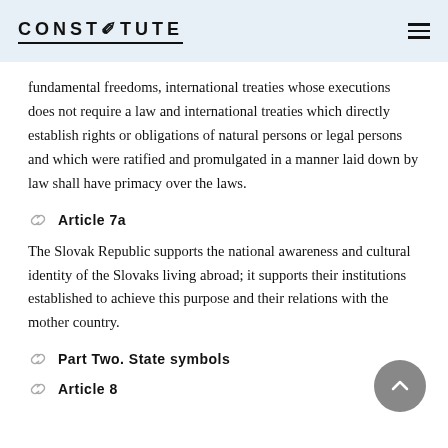CONSTITUTE
fundamental freedoms, international treaties whose executions does not require a law and international treaties which directly establish rights or obligations of natural persons or legal persons and which were ratified and promulgated in a manner laid down by law shall have primacy over the laws.
Article 7a
The Slovak Republic supports the national awareness and cultural identity of the Slovaks living abroad; it supports their institutions established to achieve this purpose and their relations with the mother country.
Part Two. State symbols
Article 8